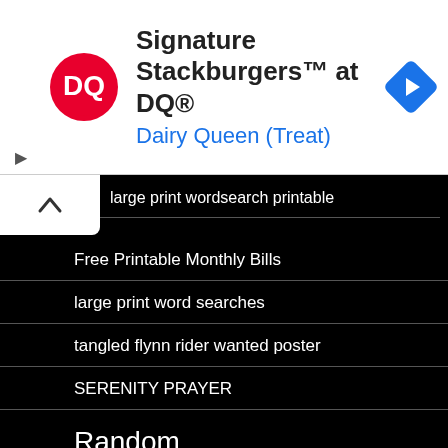[Figure (other): Dairy Queen advertisement banner with DQ logo, text 'Signature Stackburgers™ at DQ®' and 'Dairy Queen (Treat)', and a blue navigation arrow icon]
large print wordsearch printable
Free Printable Monthly Bills
large print word searches
tangled flynn rider wanted poster
SERENITY PRAYER
Random
lasagna free printable word search
large print olympic word search puzzles printable for free
bridal bingo